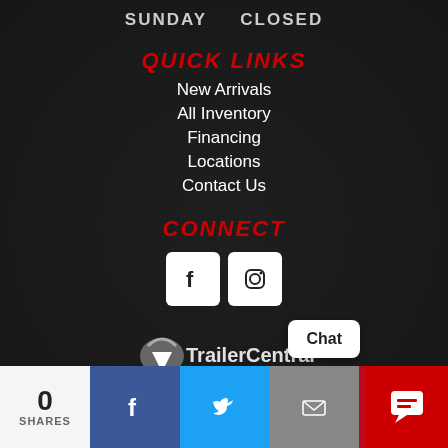SUNDAY   CLOSED
QUICK LINKS
New Arrivals
All Inventory
Financing
Locations
Contact Us
CONNECT
[Figure (infographic): Facebook and Instagram social media icon buttons (white square boxes with dark icons)]
[Figure (logo): TrailerCentral.com logo with arrow/swoosh icon]
Trailer Dealer Website by Trailer Central
0 SHARES | Facebook share | Twitter share | Email share | Pinterest share | Chat button